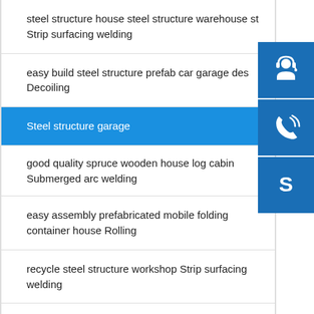steel structure house steel structure warehouse st Strip surfacing welding
easy build steel structure prefab car garage des Decoiling
Steel structure garage
good quality spruce wooden house log cabin Submerged arc welding
easy assembly prefabricated mobile folding container house Rolling
recycle steel structure workshop Strip surfacing welding
[Figure (illustration): Three sidebar icon buttons: headset/customer service icon (dark blue), phone/call icon (dark blue), Skype logo icon (dark blue)]